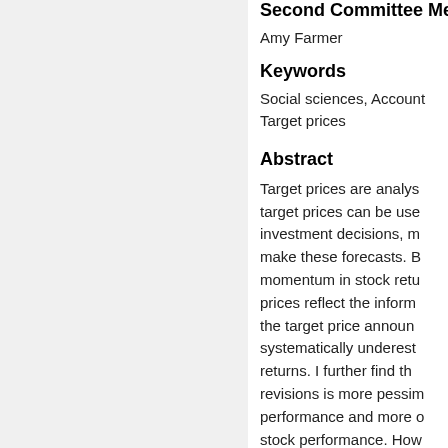Second Committee Me
Amy Farmer
Keywords
Social sciences, Account Target prices
Abstract
Target prices are analys target prices can be use investment decisions, m make these forecasts. B momentum in stock ret prices reflect the inform the target price announ systematically underest returns. I further find th revisions is more pessim performance and more d stock performance. How Star' analysts reflect the